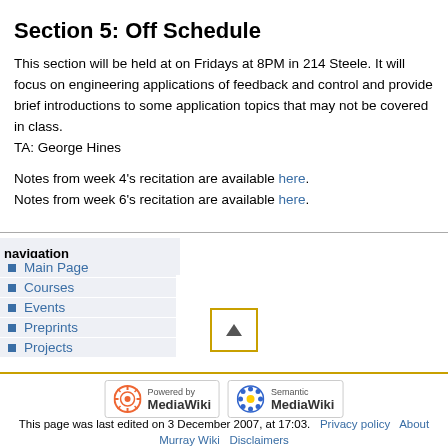Section 5: Off Schedule
This section will be held at on Fridays at 8PM in 214 Steele. It will focus on engineering applications of feedback and control and provide brief introductions to some application topics that may not be covered in class. TA: George Hines
Notes from week 4's recitation are available here.
Notes from week 6's recitation are available here.
navigation
Main Page
Courses
Events
Preprints
Projects
[Figure (other): Scroll to top button with upward triangle arrow, bordered in yellow-gold]
[Figure (logo): Powered by MediaWiki badge]
[Figure (logo): Semantic MediaWiki badge]
This page was last edited on 3 December 2007, at 17:03.   Privacy policy   About
Murray Wiki   Disclaimers